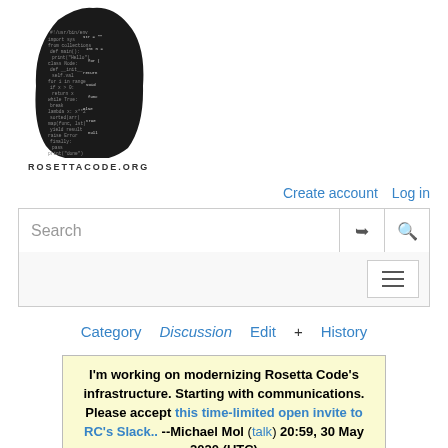[Figure (logo): Rosetta Code stone logo — dark stone shape with code text inscribed]
ROSETTACODE.ORG
Create account  Log in
Search
Category  Discussion  Edit  +  History
I'm working on modernizing Rosetta Code's infrastructure. Starting with communications. Please accept this time-limited open invite to RC's Slack.. --Michael Mol (talk) 20:59, 30 May 2020 (UTC)